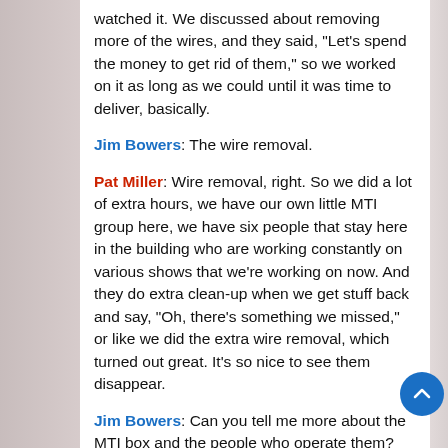watched it. We discussed about removing more of the wires, and they said, “Let’s spend the money to get rid of them,” so we worked on it as long as we could until it was time to deliver, basically.
Jim Bowers: The wire removal.
Pat Miller: Wire removal, right. So we did a lot of extra hours, we have our own little MTI group here, we have six people that stay here in the building who are working constantly on various shows that we’re working on now. And they do extra clean-up when we get stuff back and say, “Oh, there’s something we missed,” or like we did the extra wire removal, which turned out great. It’s so nice to see them disappear.
Jim Bowers: Can you tell me more about the MTI box and the people who operate them?
Pat Mill...